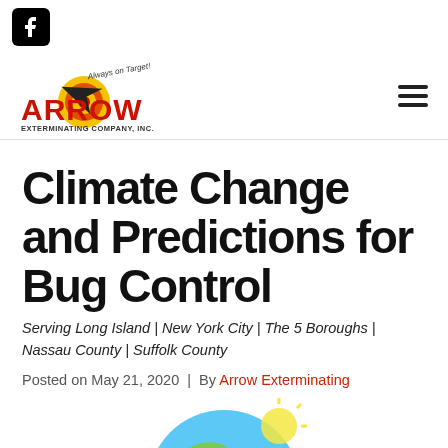[Figure (logo): Facebook icon - black rounded square with white f logo]
[Figure (logo): Arrow Exterminating Company Inc. logo - red ARROW text with target/bullseye graphic and 'Always on Target!' tagline]
Climate Change and Predictions for Bug Control
Serving Long Island | New York City | The 5 Boroughs | Nassau County | Suffolk County
Posted on May 21, 2020  |  By Arrow Exterminating
[Figure (illustration): Partial view of globe/earth illustration at bottom of page]